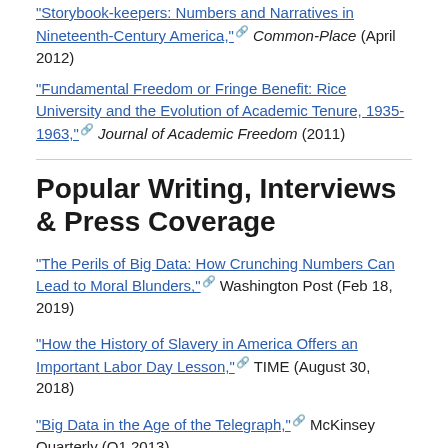"Storybook-keepers: Numbers and Narratives in Nineteenth-Century America," Common-Place (April 2012)
"Fundamental Freedom or Fringe Benefit: Rice University and the Evolution of Academic Tenure, 1935-1963," Journal of Academic Freedom (2011)
Popular Writing, Interviews & Press Coverage
"The Perils of Big Data: How Crunching Numbers Can Lead to Moral Blunders," Washington Post (Feb 18, 2019)
"How the History of Slavery in America Offers an Important Labor Day Lesson," TIME (August 30, 2018)
"Big Data in the Age of the Telegraph," McKinsey Quarterly (Q1 2013)
"Plantations Practiced Modern Management," Harvard